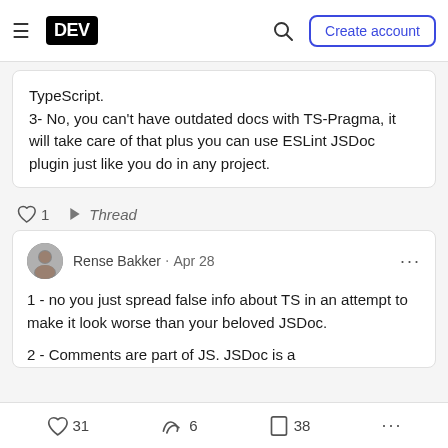DEV — Create account
TypeScript.
3- No, you can't have outdated docs with TS-Pragma, it will take care of that plus you can use ESLint JSDoc plugin just like you do in any project.
♡ 1  ↵ Thread
Rense Bakker · Apr 28
1 - no you just spread false info about TS in an attempt to make it look worse than your beloved JSDoc.
2 - Comments are part of JS. JSDoc is a
♡ 31  ❧ 6  ☐ 38  ...